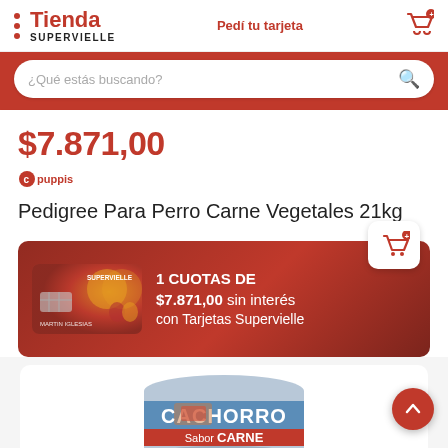[Figure (screenshot): Tienda Supervielle app header with logo, 'Pedí tu tarjeta' link, and cart icon]
¿Qué estás buscando?
$7.871,00
[Figure (logo): Puppis brand logo]
Pedigree Para Perro Carne Vegetales 21kg
[Figure (infographic): Promo banner: 1 CUOTAS DE $7.871,00 sin interés con Tarjetas Supervielle, with Supervielle card image and add-to-cart button]
1 CUOTAS DE $7.871,00 sin interés con Tarjetas Supervielle
[Figure (photo): Dog food can labeled CACHORRO, Sabor CARNE, PATÉ, partially visible at bottom of page]